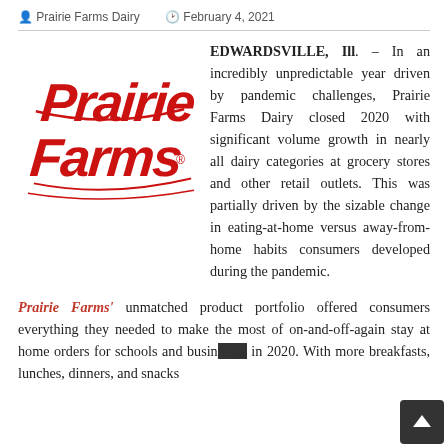Prairie Farms Dairy   February 4, 2021
[Figure (logo): Prairie Farms logo — red script lettering reading 'Prairie Farms' on a white background]
EDWARDSVILLE, Ill. – In an incredibly unpredictable year driven by pandemic challenges, Prairie Farms Dairy closed 2020 with significant volume growth in nearly all dairy categories at grocery stores and other retail outlets. This was partially driven by the sizable change in eating-at-home versus away-from-home habits consumers developed during the pandemic.
Prairie Farms' unmatched product portfolio offered consumers everything they needed to make the most of on-and-off-again stay at home orders for schools and businesses in 2020. With more breakfasts, lunches, dinners, and snacks being consumed at home, consumers relied on their trusted dairy brands to provide...